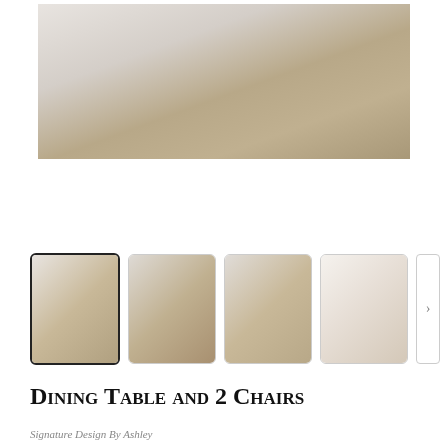[Figure (photo): Main product photo showing a dining table with white chairs on a woven rug in a kitchen setting]
[Figure (photo): Thumbnail 1: dining table and chairs from front angle]
[Figure (photo): Thumbnail 2: dining table and chairs from side angle]
[Figure (photo): Thumbnail 3: dining table and chairs from wider angle]
[Figure (photo): Thumbnail 4: table top-down view showing round table and white legs]
Dining Table and 2 Chairs
Signature Design By Ashley